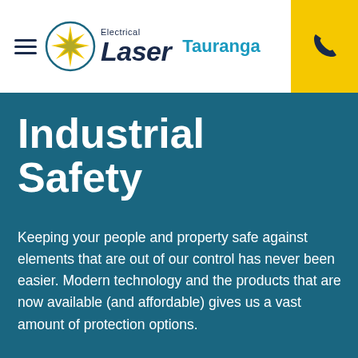[Figure (logo): Laser Electrical Tauranga logo with star burst icon, company name in dark navy italic font, and 'Tauranga' in teal/cyan color]
Industrial Safety
Keeping your people and property safe against elements that are out of our control has never been easier. Modern technology and the products that are now available (and affordable) gives us a vast amount of protection options.